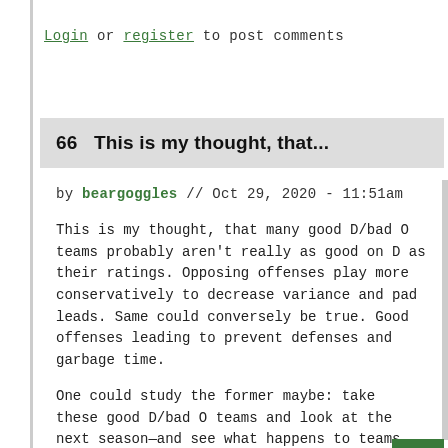Login or register to post comments
66  This is my thought, that...
by beargoggles // Oct 29, 2020 - 11:51am
This is my thought, that many good D/bad O teams probably aren't really as good on D as their ratings. Opposing offenses play more conservatively to decrease variance and pad leads. Same could conversely be true. Good offenses leading to prevent defenses and garbage time.
One could study the former maybe: take these good D/bad O teams and look at the next season—and see what happens to teams that improve on offense the following year.